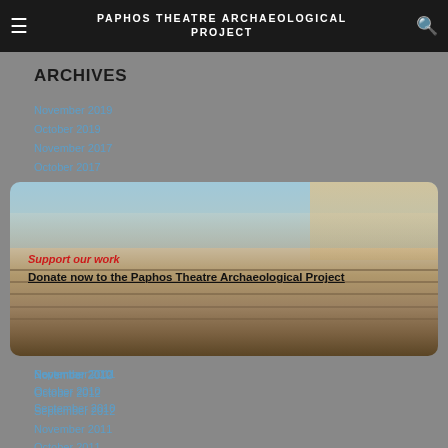PAPHOS THEATRE ARCHAEOLOGICAL PROJECT
ARCHIVES
November 2019
October 2019
November 2017
October 2017
[Figure (photo): Aerial or elevated view of the Paphos Theatre archaeological excavation site, showing ancient stone seating rows and ruins, with a city skyline visible in the background.]
Support our work
Donate now to the Paphos Theatre Archaeological Project
November 2012
October 2012
September 2012
November 2011
October 2011
September 2011
November 2010
October 2010
September 2010